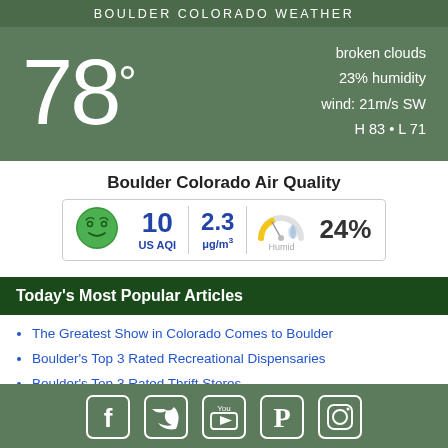BOULDER COLORADO WEATHER
78° broken clouds 23% humidity wind: 21m/s SW H 83 • L 71
Boulder Colorado Air Quality
[Figure (infographic): Air quality indicators: green face icon, US AQI 10, 2.3 μg/m³, gauge meter, 24%]
Today's Most Popular Articles
The Greatest Show in Colorado Comes to Boulder
Boulder's Top 3 Rated Recreational Dispensaries
Boulder's Top 3 Rated Thrift Stores
Why is Chile Rising? Hell No, and After a Snowfall?
Social media icons: Facebook, Twitter, YouTube, Pinterest, Instagram